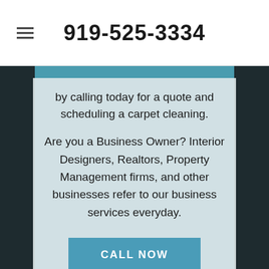919-525-3334
by calling today for a quote and scheduling a carpet cleaning.
Are you a Business Owner? Interior Designers, Realtors, Property Management firms, and other businesses refer to our business services everyday.
CALL NOW